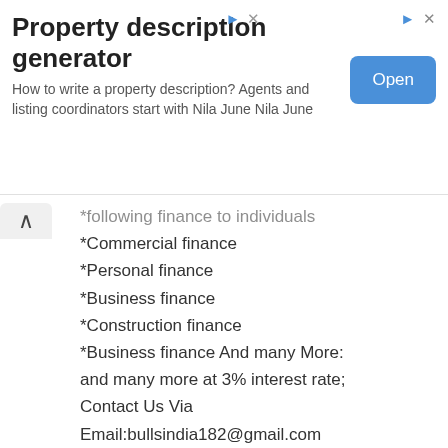[Figure (screenshot): Advertisement banner for 'Property description generator' with an Open button]
*following finance to individuals (partial)
*Commercial finance
*Personal finance
*Business finance
*Construction finance
*Business finance And many More:
and many more at 3% interest rate;
Contact Us Via Email:bullsindia182@gmail.com
Reply
Brenna Vanekova Monday, 11 September, 2017
I never ever believed in these blank ATM cards so i have always been reluctant to try purchase the blank ATM card online because i know for a fact there are fake hackers out there, but i was convinced that it really works when a very close friend at my place of work got the card & we